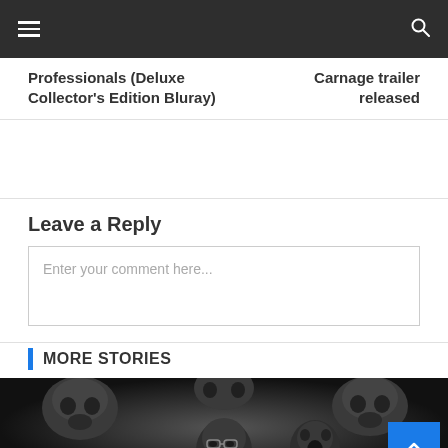Navigation bar with hamburger menu and search icon
Professionals (Deluxe Collector's Edition Bluray)
Carnage trailer released
Leave a Reply
Enter your comment here...
MORE STORIES
[Figure (photo): Black and white horror-themed image showing a man with glasses surrounded by skulls and screaming faces]